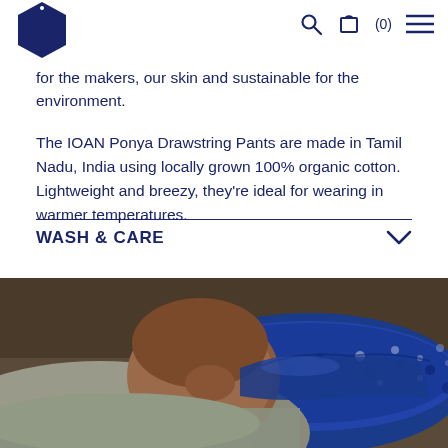(0)
for the makers, our skin and sustainable for the environment.
The IOAN Ponya Drawstring Pants are made in Tamil Nadu, India using locally grown 100% organic cotton. Lightweight and breezy, they're ideal for wearing in warmer temperatures.
WASH & CARE
[Figure (photo): A person leaning over a large vessel filled with blue indigo dye liquid, appearing to be working with fabric dye in a traditional dyeing process.]